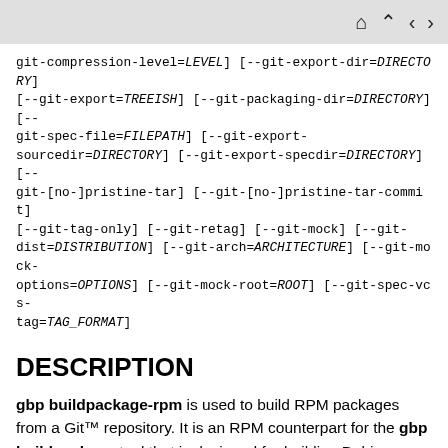navigation icons: home, up, back, forward
git-compression-level=LEVEL] [--git-export-dir=DIRECTORY] [--git-export=TREEISH] [--git-packaging-dir=DIRECTORY] [--git-spec-file=FILEPATH] [--git-export-sourcedir=DIRECTORY] [--git-export-specdir=DIRECTORY] [--git-[no-]pristine-tar] [--git-[no-]pristine-tar-commit] [--git-tag-only] [--git-retag] [--git-mock] [--git-dist=DISTRIBUTION] [--git-arch=ARCHITECTURE] [--git-mock-options=OPTIONS] [--git-mock-root=ROOT] [--git-spec-vcs-tag=TAG_FORMAT]
DESCRIPTION
gbp buildpackage-rpm is used to build RPM packages from a Git™ repository. It is an RPM counterpart for the gbp buildpackage tool that is designed for building Debian packages.
gbp buildpackage-rpm will, in order:
Verify that it is being executed from the proper location.
Verify that the repository doesn't contain any